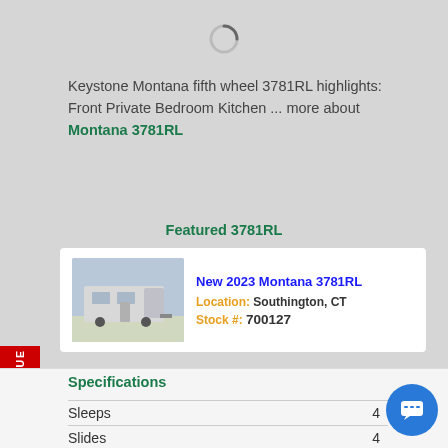[Figure (photo): Loading spinner icon]
Keystone Montana fifth wheel 3781RL highlights: Front Private Bedroom Kitchen … more about Montana 3781RL
Featured 3781RL
[Figure (photo): Exterior photo of a Montana 3781RL fifth wheel RV]
New 2023 Montana 3781RL
Location: Southington, CT
Stock #: 700127
Specifications
| Spec | Value |
| --- | --- |
| Sleeps | 4 |
| Slides | 4 |
| Length | 41 ft |